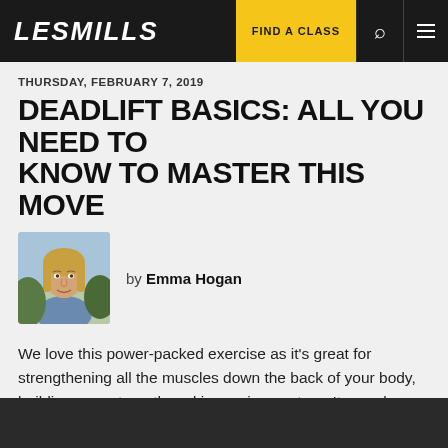LES MILLS | FIND A CLASS
THURSDAY, FEBRUARY 7, 2019
DEADLIFT BASICS: ALL YOU NEED TO KNOW TO MASTER THIS MOVE
by Emma Hogan
We love this power-packed exercise as it's great for strengthening all the muscles down the back of your body, building core strength and improving posture. It can also work wonders for athleticism, as building strong posterior muscles is key to helping you move faster during cardio training.